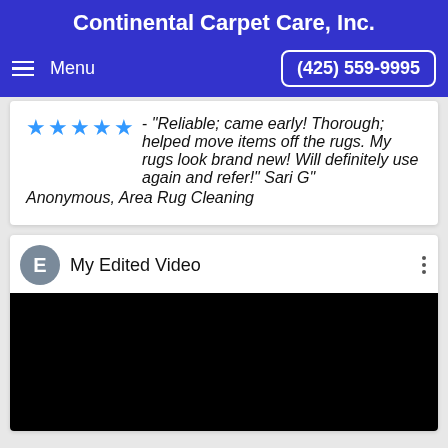Continental Carpet Care, Inc.
Menu   (425) 559-9995
★★★★★ - "Reliable; came early! Thorough; helped move items off the rugs. My rugs look brand new! Will definitely use again and refer!" Sari G"
Anonymous, Area Rug Cleaning
[Figure (screenshot): Video player with avatar circle showing letter E and title 'My Edited Video', three-dot menu icon, and black video content area below.]